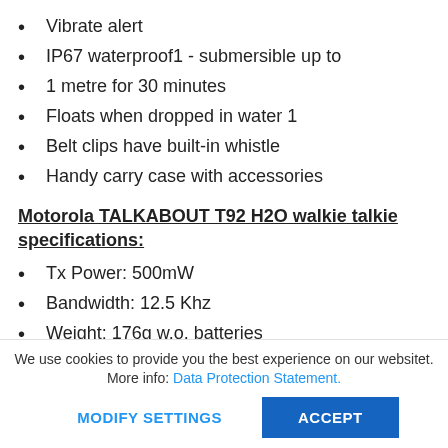Vibrate alert
IP67 waterproof1 - submersible up to
1 metre for 30 minutes
Floats when dropped in water 1
Belt clips have built-in whistle
Handy carry case with accessories
Motorola TALKABOUT T92 H2O walkie talkie specifications:
Tx Power: 500mW
Bandwidth: 12.5 Khz
Weight: 176g w.o. batteries
Colour: Yellow
Battery: Ni-MH 800 mAh PMNN4477A
Motorola TALKABOUT T92 H2O walkie talkie box contains:
We use cookies to provide you the best experience on our websitet. More info: Data Protection Statement.
MODIFY SETTINGS   ACCEPT
2 pcs. pmr446 T92 H2O walkie talkie,